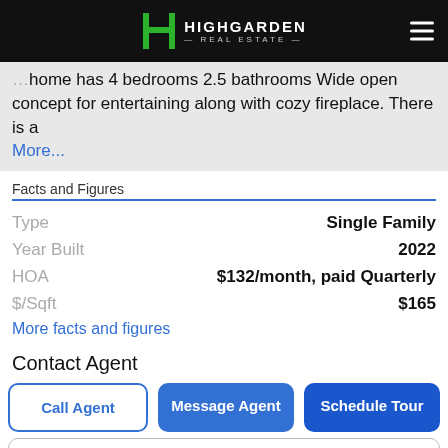HIGHGARDEN REAL ESTATE
home has 4 bedrooms 2.5 bathrooms Wide open concept for entertaining along with cozy fireplace. There is a
More...
Facts and Figures
|  |  |
| --- | --- |
| Type | Single Family |
| Year Built | 2022 |
| HOA | $132/month, paid Quarterly |
| $/Sqft | $165 |
More facts and figures
Contact Agent
Call Agent
Message Agent
Schedule Tour
Phone